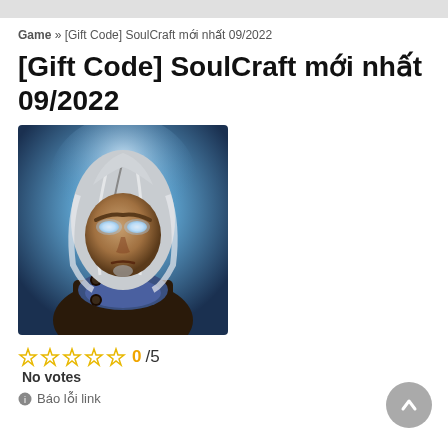Game » [Gift Code] SoulCraft mới nhất 09/2022
[Gift Code] SoulCraft mới nhất 09/2022
[Figure (illustration): Illustrated character portrait of a white-haired warrior with glowing eyes, dark armor, against a blue glowing background — SoulCraft game art]
☆☆☆☆☆ 0/5
No votes
Báo lỗi link